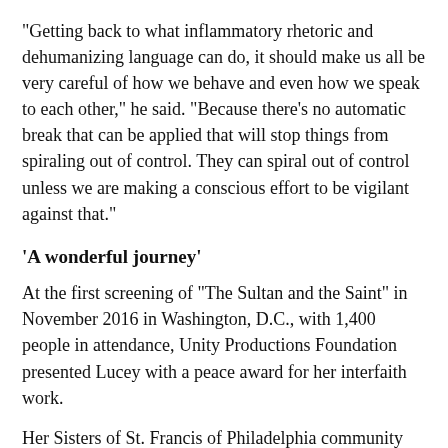"Getting back to what inflammatory rhetoric and dehumanizing language can do, it should make us all be very careful of how we behave and even how we speak to each other," he said. "Because there's no automatic break that can be applied that will stop things from spiraling out of control. They can spiral out of control unless we are making a conscious effort to be vigilant against that."
'A wonderful journey'
At the first screening of "The Sultan and the Saint" in November 2016 in Washington, D.C., with 1,400 people in attendance, Unity Productions Foundation presented Lucey with a peace award for her interfaith work.
Her Sisters of St. Francis of Philadelphia community stands as a successful example of Christian-Muslim encounter through its ongoing dialogue, now six years strong, with the Zubaida Foundation, based in Yardley, Pennsylvania.
"The relationship has developed, I would say, into a real friendship," Lucey said.
Noor Phillips, a member of the Zubaida Foundation's interfaith committee, called the friendship with the Franciscan sisters "a